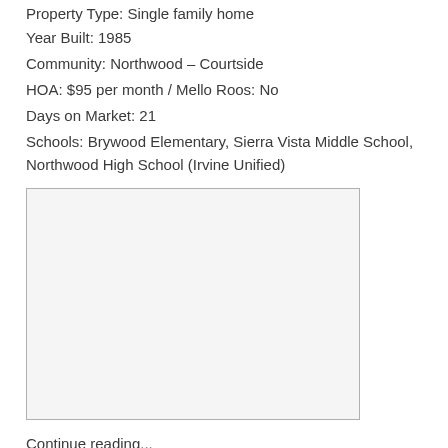Property Type: Single family home
Year Built: 1985
Community: Northwood – Courtside
HOA: $95 per month / Mello Roos: No
Days on Market: 21
Schools: Brywood Elementary, Sierra Vista Middle School, Northwood High School (Irvine Unified)
[Figure (photo): Empty light gray placeholder box for a property photo]
Continue reading...